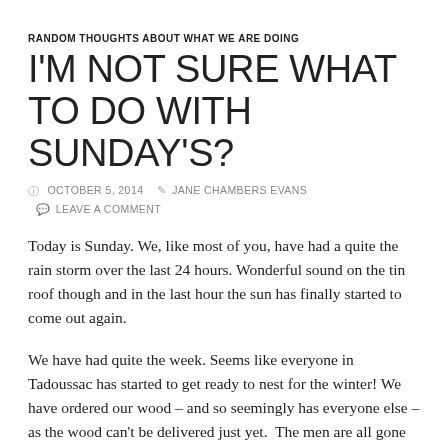RANDOM THOUGHTS ABOUT WHAT WE ARE DOING
I'M NOT SURE WHAT TO DO WITH SUNDAY'S?
⊙ OCTOBER 5, 2014   ✎ JANE CHAMBERS EVANS   ✉ LEAVE A COMMENT
Today is Sunday. We, like most of you, have had a quite the rain storm over the last 24 hours. Wonderful sound on the tin roof though and in the last hour the sun has finally started to come out again.
We have had quite the week. Seems like everyone in Tadoussac has started to get ready to nest for the winter! We have ordered our wood – and so seemingly has everyone else – as the wood can't be delivered just yet.  The men are all gone on